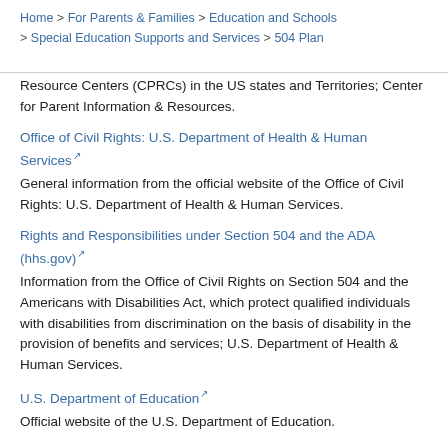Home > For Parents & Families > Education and Schools > Special Education Supports and Services > 504 Plan
Resource Centers (CPRCs) in the US states and Territories; Center for Parent Information & Resources.
Office of Civil Rights: U.S. Department of Health & Human Services
General information from the official website of the Office of Civil Rights: U.S. Department of Health & Human Services.
Rights and Responsibilities under Section 504 and the ADA (hhs.gov)
Information from the Office of Civil Rights on Section 504 and the Americans with Disabilities Act, which protect qualified individuals with disabilities from discrimination on the basis of disability in the provision of benefits and services; U.S. Department of Health & Human Services.
U.S. Department of Education
Official website of the U.S. Department of Education.
Section 504 of the Rehabilitation Act of 1973